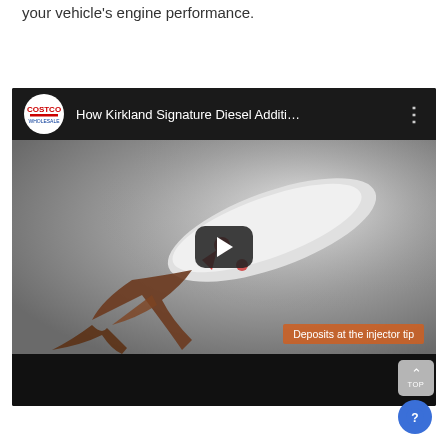your vehicle's engine performance.
[Figure (screenshot): YouTube video embed showing Costco Wholesale channel video titled 'How Kirkland Signature Diesel Additi...' with a thumbnail of a diesel injector with brown deposits and a play button overlay. An orange subtitle label reads 'Deposits at the injector tip'. The video player has a black top bar with Costco logo and title, and a black bottom bar.]
[Figure (other): TOP scroll-to-top button (grey rounded rectangle with upward chevron and 'TOP' text) and a blue circular help/info button with a question mark icon, both in the bottom right corner.]